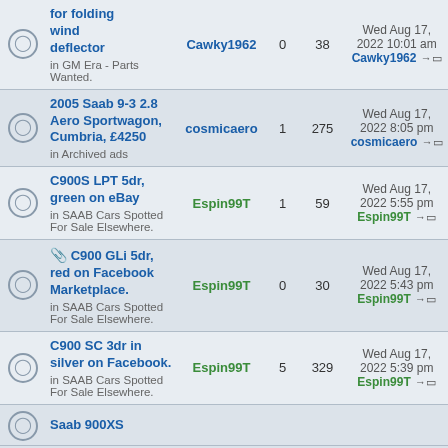|  | Topic | Author | Replies | Views | Last post |
| --- | --- | --- | --- | --- | --- |
| 🔔 | for folding wind deflector
in GM Era - Parts Wanted. | Cawky1962 | 0 | 38 | Wed Aug 17, 2022 10:01 am
Cawky1962 →□ |
| 🔔 | 2005 Saab 9-3 2.8 Aero Sportwagon, Cumbria, £4250
in Archived ads | cosmicaero | 1 | 275 | Wed Aug 17, 2022 8:05 pm
cosmicaero →□ |
| 🔔 | C900S LPT 5dr, green on eBay
in SAAB Cars Spotted For Sale Elsewhere. | Espin99T | 1 | 59 | Wed Aug 17, 2022 5:55 pm
Espin99T →□ |
| 🔔 | 📎 C900 GLi 5dr, red on Facebook Marketplace.
in SAAB Cars Spotted For Sale Elsewhere. | Espin99T | 0 | 30 | Wed Aug 17, 2022 5:43 pm
Espin99T →□ |
| 🔔 | C900 SC 3dr in silver on Facebook.
in SAAB Cars Spotted For Sale Elsewhere. | Espin99T | 5 | 329 | Wed Aug 17, 2022 5:39 pm
Espin99T →□ |
| 🔔 | Saab 900XS |  |  |  |  |